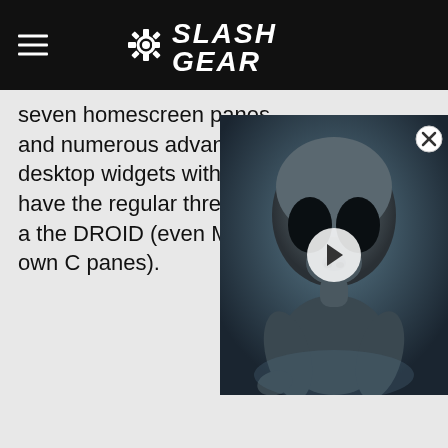SlashGear
seven homescreen panes and numerous advanced desktop widgets with HTC Se have the regular three panes a the DROID (even Moto's own C panes).
[Figure (screenshot): Video overlay thumbnail showing an alien figure with a play button, with a close (X) button in the top right corner]